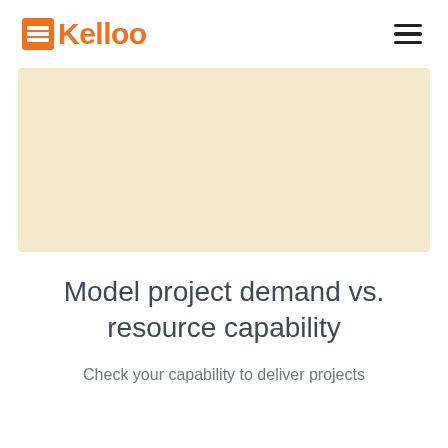Kelloo
[Figure (illustration): Beige/cream colored rectangular placeholder image area for Kelloo product screenshot]
Model project demand vs. resource capability
Check your capability to deliver projects